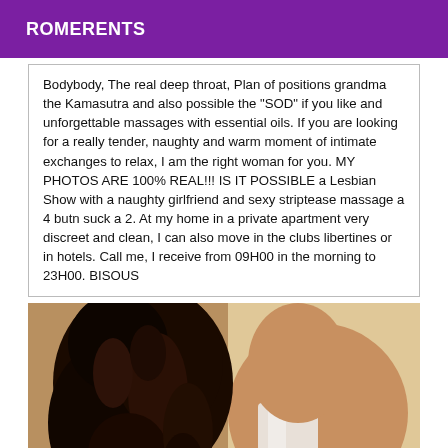ROMERENTS
Bodybody, The real deep throat, Plan of positions grandma the Kamasutra and also possible the "SOD" if you like and unforgettable massages with essential oils. If you are looking for a really tender, naughty and warm moment of intimate exchanges to relax, I am the right woman for you. MY PHOTOS ARE 100% REAL!!! IS IT POSSIBLE a Lesbian Show with a naughty girlfriend and sexy striptease massage a 4 butn suck a 2. At my home in a private apartment very discreet and clean, I can also move in the clubs libertines or in hotels. Call me, I receive from 09H00 in the morning to 23H00. BISOUS
[Figure (photo): Photo of a woman from behind showing curly dark hair and bare shoulder/back in a white top, against a light beige/cream background.]